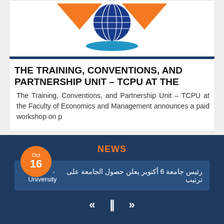[Figure (logo): University logo with globe icon, orange arrow shapes, and blue diamond shape]
THE TRAINING, CONVENTIONS, AND PARTNERSHIP UNIT – TCPU AT THE
The Training, Conventions, and Partnership Unit – TCPU at the Faculty of Economics and Management announces a paid workshop on p
[Figure (infographic): Card with Oct 16 orange badge and large orange circle graphic]
NEWS
رئيس جامعة 6 أكتوبر يعلن حصول الجامعة على ترتيب - University
[Figure (infographic): Navigation controls: rewind, pause, fast-forward icons]